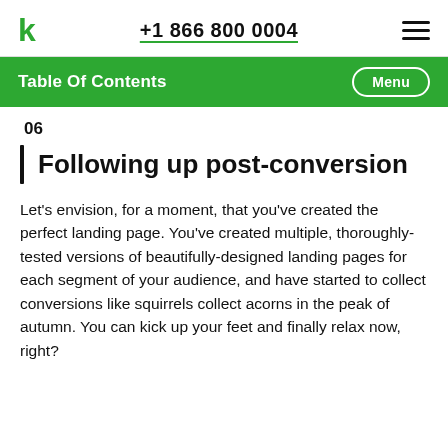k  +1 866 800 0004  ☰
Table Of Contents  Menu
06
Following up post-conversion
Let's envision, for a moment, that you've created the perfect landing page. You've created multiple, thoroughly-tested versions of beautifully-designed landing pages for each segment of your audience, and have started to collect conversions like squirrels collect acorns in the peak of autumn. You can kick up your feet and finally relax now, right?